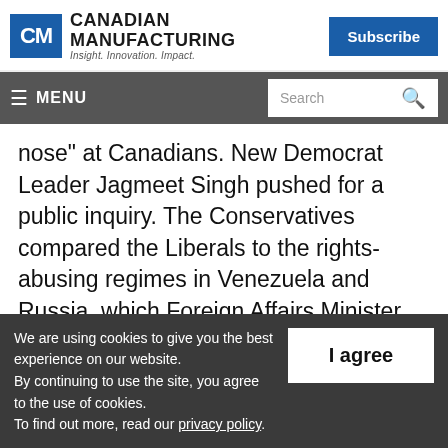Canadian Manufacturing — Insight. Innovation. Impact.
nose” at Canadians. New Democrat Leader Jagmeet Singh pushed for a public inquiry. The Conservatives compared the Liberals to the rights-abusing regimes in Venezuela and Russia, which Foreign Affairs Minister Chrystia Freeland called insulting.
We are using cookies to give you the best experience on our website. By continuing to use the site, you agree to the use of cookies. To find out more, read our privacy policy.